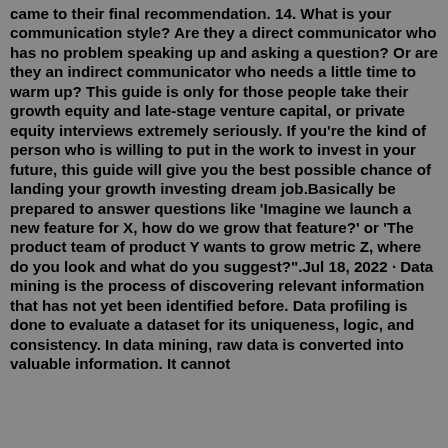came to their final recommendation. 14. What is your communication style? Are they a direct communicator who has no problem speaking up and asking a question? Or are they an indirect communicator who needs a little time to warm up? This guide is only for those people take their growth equity and late-stage venture capital, or private equity interviews extremely seriously. If you're the kind of person who is willing to put in the work to invest in your future, this guide will give you the best possible chance of landing your growth investing dream job.Basically be prepared to answer questions like 'Imagine we launch a new feature for X, how do we grow that feature?' or 'The product team of product Y wants to grow metric Z, where do you look and what do you suggest?".Jul 18, 2022 · Data mining is the process of discovering relevant information that has not yet been identified before. Data profiling is done to evaluate a dataset for its uniqueness, logic, and consistency. In data mining, raw data is converted into valuable information. It cannot